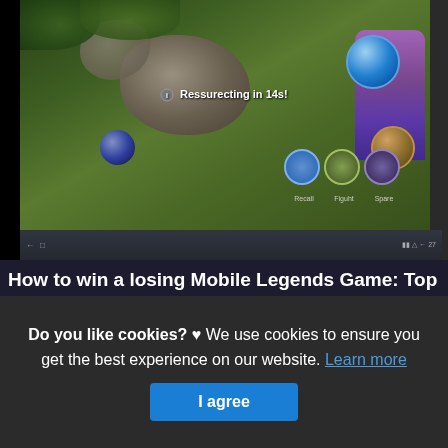[Figure (screenshot): Screenshot of a Mobile Legends game running in BlueStacks emulator. The game shows a top-down view of a jungle area with rocks, vegetation, a blue sphere, hero ability icons at the bottom, and a right-side character. An on-screen text reads 'Ressurecting in 14s!' with an icon. A taskbar is visible at the bottom of the emulator window.]
How to win a losing Mobile Legends Game: Top Tips
This is actually a write-up or even photo approximately the How to win a losing Mobile Legends Game: Top Tips BlueStacks, if you desire much a lot extra details approximately the short post or even photo satisfy click on or even explore the complying with web link or even web link . (Read More)
Source: www.bluestacks.com
Do you like cookies? ♥ We use cookies to ensure you get the best experience on our website. Learn more
I agree